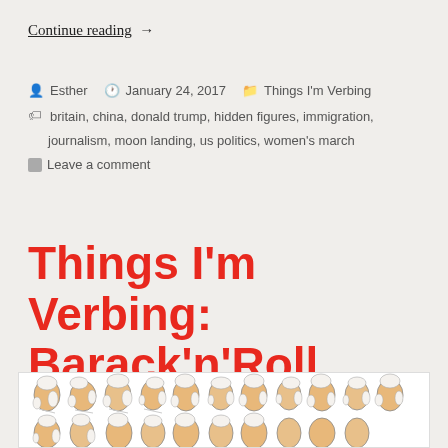Continue reading  →
Esther  January 24, 2017  Things I'm Verbing  britain, china, donald trump, hidden figures, immigration, journalism, moon landing, us politics, women's march  Leave a comment
Things I'm Verbing: Barack'n'Roll
[Figure (illustration): A row of illustrated portrait heads of historical figures (appearing to be US presidents/founders) with white wigs, shown in profile or three-quarter view, repeated across two rows at the bottom of the page.]